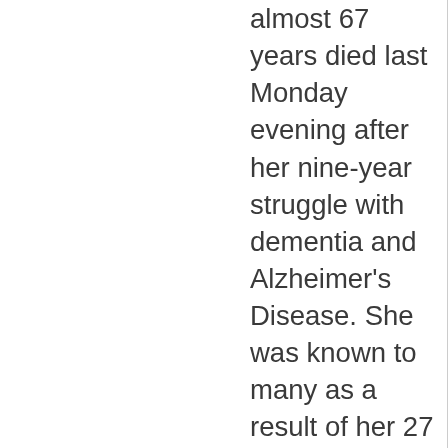almost 67 years died last Monday evening after her nine-year struggle with dementia and Alzheimer's Disease. She was known to many as a result of her 27 years of teaching at Florida College and her travels with me. Read more here: ferrelljenkins.